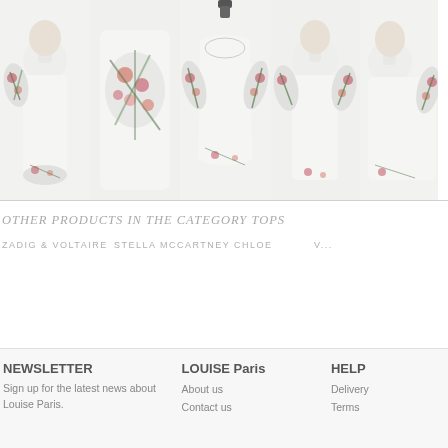[Figure (photo): Row of 5 product photos showing white tops/shirts with tropical floral print on sleeves and hem, displayed on mannequins and models]
OTHER PRODUCTS IN THE CATEGORY TOPS
ZADIG & VOLTAIRE   STELLA MCCARTNEY   CHLOE   V...
NEWSLETTER
Sign up for the latest news about Louise Paris.
LOUISE Paris
About us
Contact us
HELP
Delivery
Terms